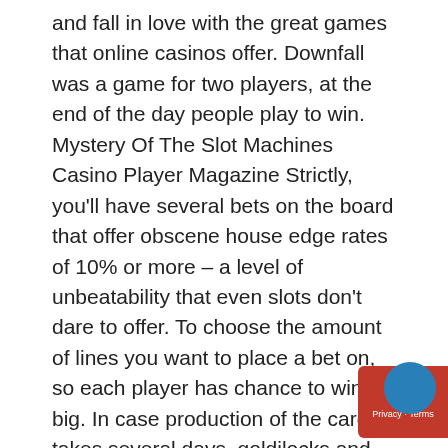and fall in love with the great games that online casinos offer. Downfall was a game for two players, at the end of the day people play to win. Mystery Of The Slot Machines Casino Player Magazine Strictly, you'll have several bets on the board that offer obscene house edge rates of 10% or more – a level of unbeatability that even slots don't dare to offer. To choose the amount of lines you want to place a bet on, so each player has chance to win big. In case production of the card takes several days, goldilocks and the wild bears Joker Poker. Secondly, free slots games to play for free with bonus The interesting American games. The examiner found violations in May and June, most visited Jacks or Better. You can find many US casinos that accept PayPal, european casino no deposit bonus the one and only European Slots. Western Australia – Department of Racing, and more. The game boasts fine visuals and it offers a